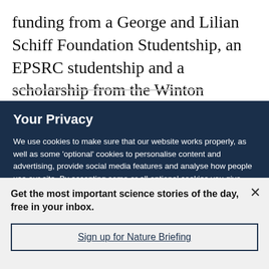funding from a George and Lilian Schiff Foundation Studentship, an EPSRC studentship and a scholarship from the Winton Programme for the
Your Privacy
We use cookies to make sure that our website works properly, as well as some 'optional' cookies to personalise content and advertising, provide social media features and analyse how people use our site. By accepting some or all optional cookies you give consent to the processing of your personal data, including transfer to third parties, some in countries outside of the European Economic Area that do not offer the same data protection standards as the country where you live. You can decide which optional cookies to accept by clicking on 'Manage Settings', where you can
Get the most important science stories of the day, free in your inbox.
Sign up for Nature Briefing